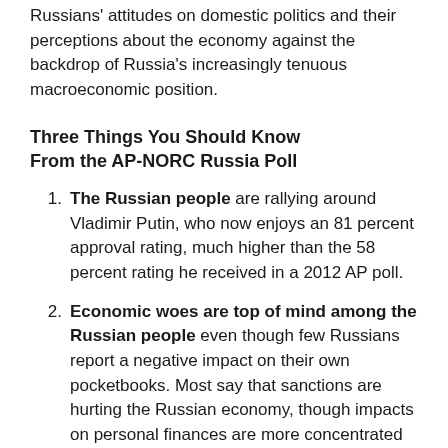Russians' attitudes on domestic politics and their perceptions about the economy against the backdrop of Russia's increasingly tenuous macroeconomic position.
Three Things You Should Know From the AP-NORC Russia Poll
The Russian people are rallying around Vladimir Putin, who now enjoys an 81 percent approval rating, much higher than the 58 percent rating he received in a 2012 AP poll.
Economic woes are top of mind among the Russian people even though few Russians report a negative impact on their own pocketbooks. Most say that sanctions are hurting the Russian economy, though impacts on personal finances are more concentrated among those with higher incomes.
Two-thirds of Russians favor efforts to support